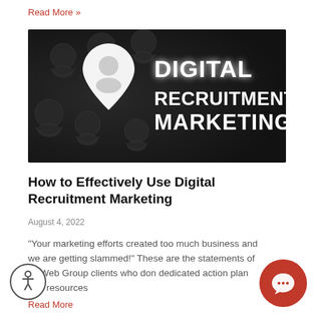Read More »
[Figure (photo): Dark background with multiple metallic person/location pin icons; center pin is white/glowing. White bold text reads DIGITAL RECRUITMENT MARKETING]
How to Effectively Use Digital Recruitment Marketing
August 4, 2022
"Your marketing efforts created too much business and we are getting slammed!" These are the statements of CI Web Group clients who don dedicated action plan and resources
Read More